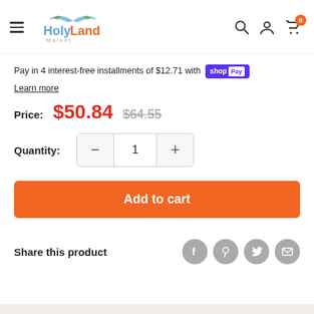HolyLand Market — navigation header with menu, logo, search, account, cart (0)
Pay in 4 interest-free installments of $12.71 with Shop Pay
Learn more
Price: $50.84 $64.55
Quantity: 1
Add to cart
Share this product